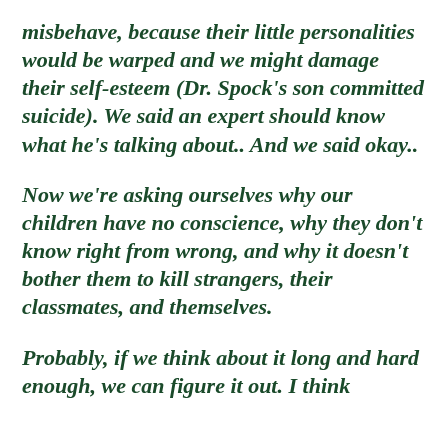misbehave, because their little personalities would be warped and we might damage their self-esteem (Dr. Spock's son committed suicide). We said an expert should know what he's talking about.. And we said okay..
Now we're asking ourselves why our children have no conscience, why they don't know right from wrong, and why it doesn't bother them to kill strangers, their classmates, and themselves.
Probably, if we think about it long and hard enough, we can figure it out. I think